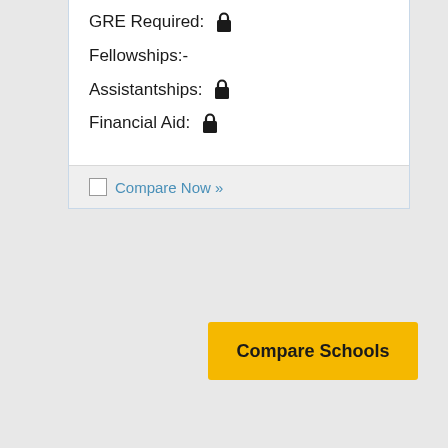GRE Required: 🔒
Fellowships:-
Assistantships: 🔒
Financial Aid: 🔒
Compare Now »
Compare Schools